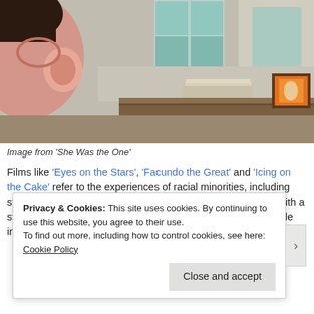[Figure (illustration): Illustration/painting showing a mural of a face on the left side, a wooden cabinet with stacked papers/books and a framed orange/yellow painting, with windows and a concrete wall in the background.]
Image from 'She Was the One'
Films like 'Eyes on the Stars', 'Facundo the Great' and 'Icing on the Cake' refer to the experiences of racial minorities, including stories of inequality and immigration. They are however told with a stereotypical American optimism and sentimentality. The people involved look back
Privacy & Cookies: This site uses cookies. By continuing to use this website, you agree to their use.
To find out more, including how to control cookies, see here: Cookie Policy